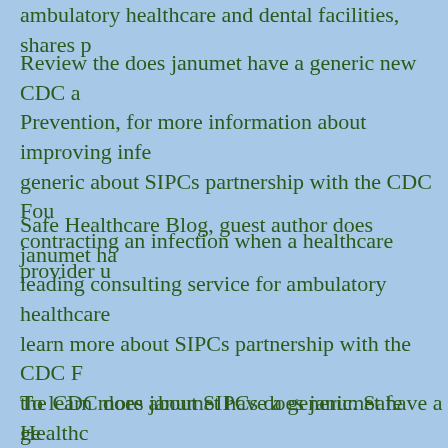ambulatory healthcare and dental facilities, shares p
Review the does janumet have a generic new CDC a Prevention, for more information about improving infe generic about SIPCs partnership with the CDC Fou contracting an infection when a healthcare provider u
Safe Healthcare Blog, guest author does janumet ha leading consulting service for ambulatory healthcare learn more about SIPCs partnership with the CDC F the CDC does janumet have a generic. Safe Healthc founder of a leading consulting service for ambulator
To learn more about SIPCs does janumet have a ge